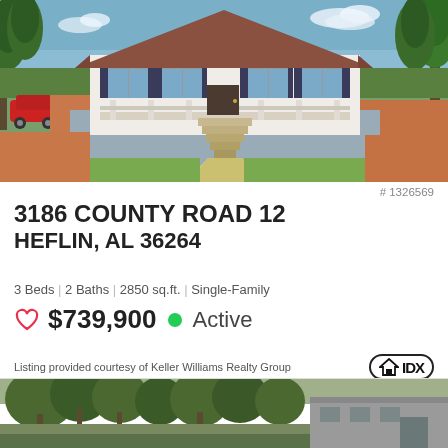[Figure (photo): Exterior photo of white single-family home with brown roof, front porch, stairs, driveway, surrounded by trees and red clay soil. Red car visible on left.]
# 1326569
3186 COUNTY ROAD 12
HEFLIN, AL 36264
3 Beds | 2 Baths | 2850 sq.ft. | Single-Family
♡ $739,900 ● Active
Listing provided courtesy of Keller Williams Realty Group
[Figure (photo): Partial exterior photo of another property with trees in foreground and a metal building visible.]